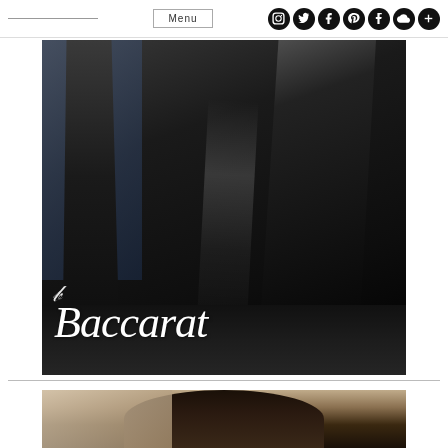Menu
[Figure (photo): Fashion photo showing a person in a flowing black gown/dress standing near a reflective dark surface, with the Baccarat brand logo in white script overlaid at the bottom of the image]
[Figure (photo): Partial view of another fashion photo showing a person with dark hair, cropped at the bottom of the page]